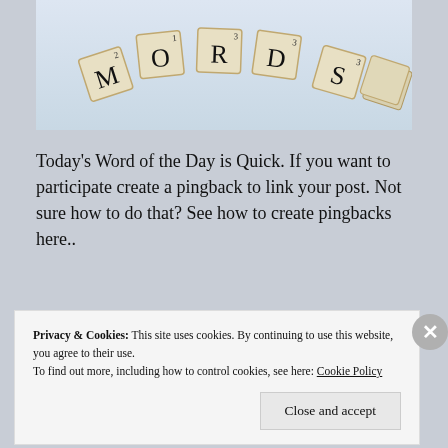[Figure (photo): Scrabble letter tiles arranged in an arc spelling out letters including M, O, R, D, S on a light blue-grey background]
Today's Word of the Day is Quick. If you want to participate create a pingback to link your post. Not sure how to do that? See how to create pingbacks here..
Privacy & Cookies: This site uses cookies. By continuing to use this website, you agree to their use.
To find out more, including how to control cookies, see here: Cookie Policy
Close and accept